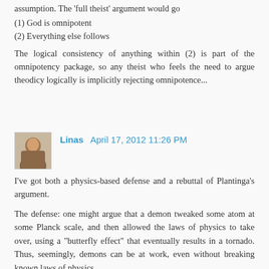assumption. The 'full theist' argument would go
(1) God is omnipotent
(2) Everything else follows
The logical consistency of anything within (2) is part of the omnipotency package, so any theist who feels the need to argue theodicy logically is implicitly rejecting omnipotence...
Linas  April 17, 2012 11:26 PM
I've got both a physics-based defense and a rebuttal of Plantinga's argument.
The defense: one might argue that a demon tweaked some atom at some Planck scale, and then allowed the laws of physics to take over, using a "butterfly effect" that eventually results in a tornado. Thus, seemingly, demons can be at work, even without breaking known laws of physics.